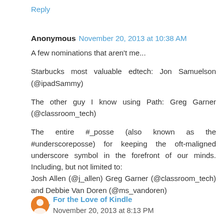Reply
Anonymous  November 20, 2013 at 10:38 AM
A few nominations that aren't me...
Starbucks most valuable edtech: Jon Samuelson (@ipadSammy)
The other guy I know using Path: Greg Garner (@classroom_tech)
The entire #_posse (also known as the #underscoreposse) for keeping the oft-maligned underscore symbol in the forefront of our minds. Including, but not limited to:
Josh Allen (@j_allen) Greg Garner (@classroom_tech) and Debbie Van Doren (@ms_vandoren)
Reply
For the Love of Kindle  November 20, 2013 at 8:13 PM